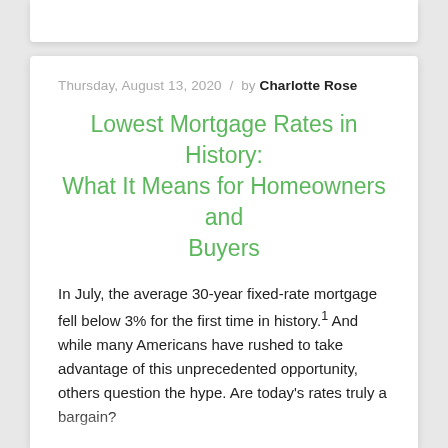Thursday, August 13, 2020 / by Charlotte Rose
Lowest Mortgage Rates in History: What It Means for Homeowners and Buyers
In July, the average 30-year fixed-rate mortgage fell below 3% for the first time in history.1 And while many Americans have rushed to take advantage of this unprecedented opportunity, others question the hype. Are today's rates truly a bargain?
While average mortgage rates have drifted between 4% and 5% in recent years, they haven't always been so low. Freddie Mac began tracking